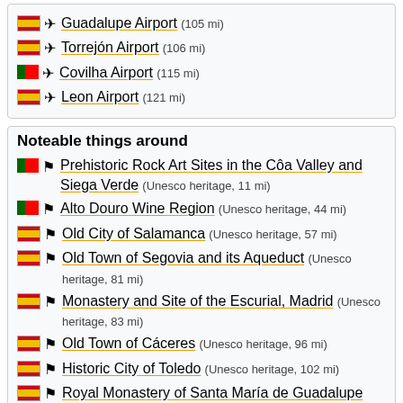Guadalupe Airport (105 mi)
Torrejón Airport (106 mi)
Covilha Airport (115 mi)
Leon Airport (121 mi)
Noteable things around
Prehistoric Rock Art Sites in the Côa Valley and Siega Verde (Unesco heritage, 11 mi)
Alto Douro Wine Region (Unesco heritage, 44 mi)
Old City of Salamanca (Unesco heritage, 57 mi)
Old Town of Segovia and its Aqueduct (Unesco heritage, 81 mi)
Monastery and Site of the Escurial, Madrid (Unesco heritage, 83 mi)
Old Town of Cáceres (Unesco heritage, 96 mi)
Historic City of Toledo (Unesco heritage, 102 mi)
Royal Monastery of Santa María de Guadalupe (Unesco heritage, 104 mi)